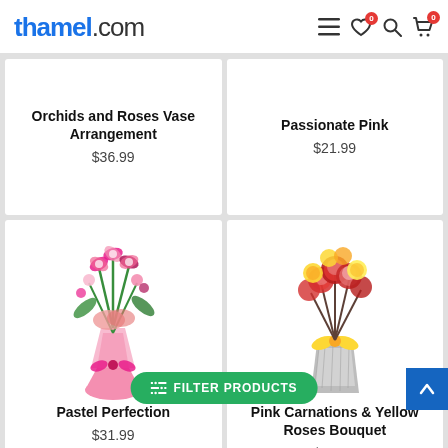thamel.com
Orchids and Roses Vase Arrangement $36.99
Passionate Pink $21.99
[Figure (photo): Pink flower bouquet with orchids wrapped in pink paper]
[Figure (photo): Mixed bouquet of red carnations and yellow roses wrapped in silver paper with yellow bow]
Pastel Perfection $31.99
Pink Carnations & Yellow Roses Bouquet $13.99